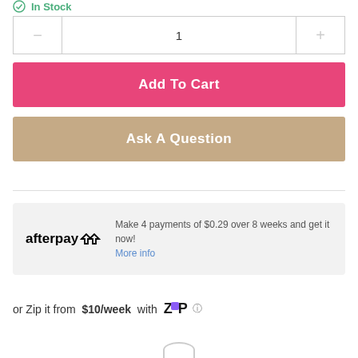In Stock
1
Add To Cart
Ask A Question
Make 4 payments of $0.29 over 8 weeks and get it now! More info
or Zip it from $10/week with